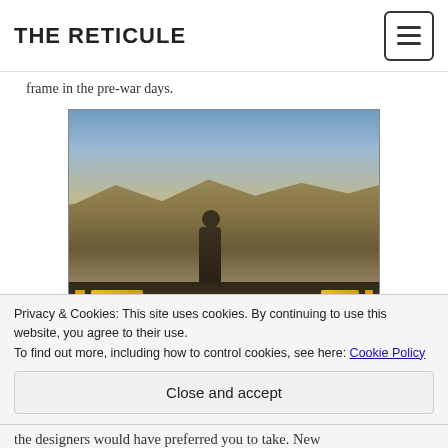THE RETICULE
frame in the pre-war days.
[Figure (screenshot): Fallout New Vegas in-game screenshot showing a character standing on a dirt path in a post-apocalyptic desert landscape with mountains and cloudy sky in the background, with HUD bars visible at the bottom.]
These changes are backed up by a further expansion
Privacy & Cookies: This site uses cookies. By continuing to use this website, you agree to their use. To find out more, including how to control cookies, see here: Cookie Policy
Close and accept
the designers would have preferred you to take. New